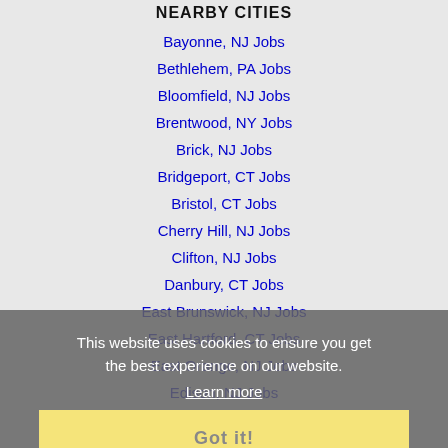NEARBY CITIES
Bayonne, NJ Jobs
Bethlehem, PA Jobs
Bloomfield, NJ Jobs
Brentwood, NY Jobs
Brick, NJ Jobs
Bridgeport, CT Jobs
Bristol, CT Jobs
Cherry Hill, NJ Jobs
Clifton, NJ Jobs
Danbury, CT Jobs
East Brunswick, NJ Jobs
East Hartford, CT Jobs
East Orange, NJ Jobs
Edison, NJ Jobs
Elizabeth, NJ Jobs
Fairfield, CT Jobs
Freeport, NY Jobs
Greenwich, CT Jobs
This website uses cookies to ensure you get the best experience on our website. Learn more Got it!